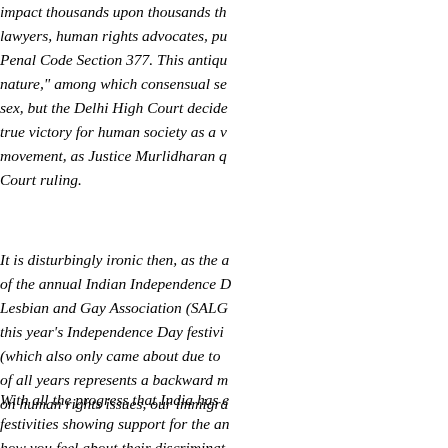impact thousands upon thousands th... lawyers, human rights advocates, pu... Penal Code Section 377. This antiqu... nature," among which consensual se... sex, but the Delhi High Court decide... true victory for human society as a v... movement, as Justice Murlidharan q... Court ruling.
It is disturbingly ironic then, as the a... of the annual Indian Independence D... Lesbian and Gay Association (SALG... this year's Independence Day festivi... (which also only came about due to ... of all years represents a backward m... on human rights issues, our immigra...
With all the progress that India has e... festivities showing support for the an... how you feel about their discriminat... this Independence Day, marching wi...